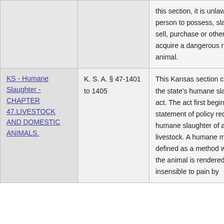|  |  | this section, it is unlawful for a person to possess, slaughter, sell, purchase or otherwise acquire a dangerous regulated animal. |
| KS - Humane Slaughter - CHAPTER 47.LIVESTOCK AND DOMESTIC ANIMALS. | K. S. A. § 47-1401 to 1405 | This Kansas section comprises the state's humane slaughter act. The act first begins with a statement of policy requiring the humane slaughter of all livestock. A humane method is defined as a method whereby the animal is rendered insensible to pain by |